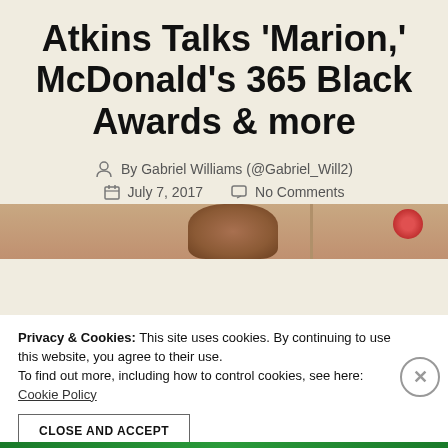Atkins Talks 'Marion,' McDonald's 365 Black Awards & more
By Gabriel Williams (@Gabriel_Will2)
July 7, 2017  No Comments
[Figure (photo): Partial photo showing a person's face/head and flowers in the background, cropped at top of page.]
Privacy & Cookies: This site uses cookies. By continuing to use this website, you agree to their use. To find out more, including how to control cookies, see here: Cookie Policy
CLOSE AND ACCEPT